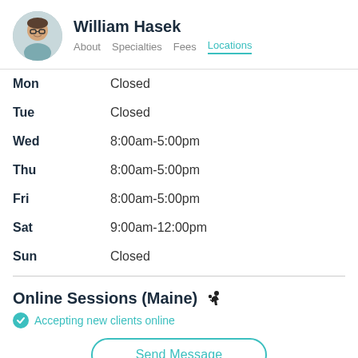William Hasek — About Specialties Fees Locations
| Day | Hours |
| --- | --- |
| Mon | Closed |
| Tue | Closed |
| Wed | 8:00am-5:00pm |
| Thu | 8:00am-5:00pm |
| Fri | 8:00am-5:00pm |
| Sat | 9:00am-12:00pm |
| Sun | Closed |
Online Sessions (Maine) ♿
Accepting new clients online
Send Message